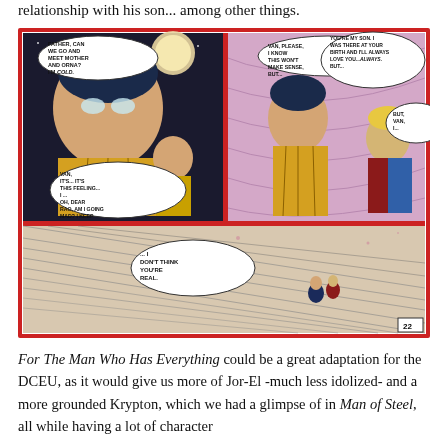relationship with his son... among other things.
[Figure (illustration): A comic book page showing Superman/Jor-El with a young boy (Van) in space. Top left panel: close-up of Jor-El holding Van, speech bubbles: 'FATHER, CAN WE GO AND MEET MOTHER AND ORNA? I'M COLD.' and 'VAN, IT'S... IT'S THIS FEELING... I... OH, DEAR RAO, AM I GOING MAD? I KEEP THINKING THAT...' Top right panel: Jor-El speaking to Van, speech bubbles: 'VAN, PLEASE, I KNOW THIS WON'T MAKE SENSE, BUT...' and 'YOU'RE MY SON. I WAS THERE AT YOUR BIRTH AND I'LL ALWAYS LOVE YOU... ALWAYS. BUT...' and 'BUT, VAN, I...' Bottom panel: wide shot of two figures standing on a snowy/icy landscape with streaking lines, speech bubble: '...I DON'T THINK YOU'RE REAL.' Page number 22 in bottom right.]
For The Man Who Has Everything could be a great adaptation for the DCEU, as it would give us more of Jor-El -much less idolized- and a more grounded Krypton, which we had a glimpse of in Man of Steel, all while having a lot of character